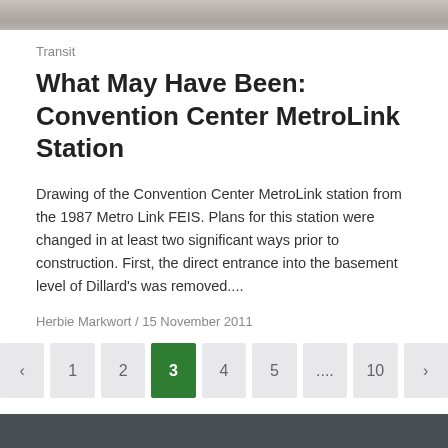[Figure (photo): Grayscale photo strip of what appears to be a tiled or concrete surface, cropped at top of page]
Transit
What May Have Been: Convention Center MetroLink Station
Drawing of the Convention Center MetroLink station from the 1987 Metro Link FEIS. Plans for this station were changed in at least two significant ways prior to construction. First, the direct entrance into the basement level of Dillard's was removed....
Herbie Markwort  /  15 November 2011
‹  1  2  3  4  5  ....  10  ›